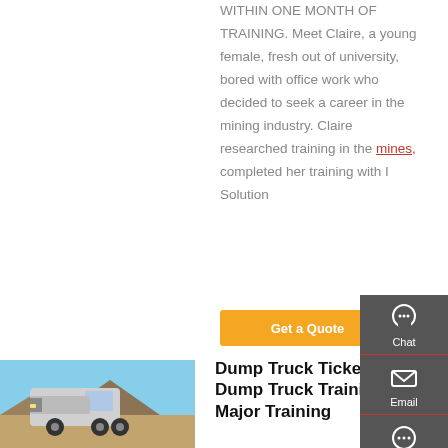WITHIN ONE MONTH OF TRAINING. Meet Claire, a young female, fresh out of university, bored with office work who decided to seek a career in the mining industry. Claire researched training in the mines, completed her training with I Solution
Get a Quote
[Figure (photo): A silver dump truck cab parked in a mining area with rocky terrain in the background under a blue sky.]
Dump Truck Ticket | Dump Truck Training | Major Training
[Figure (infographic): Website sidebar with Chat, Email, Contact, and Top navigation icons on a dark grey background.]